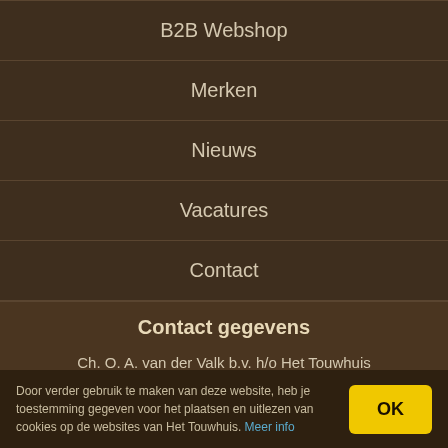B2B Webshop
Merken
Nieuws
Vacatures
Contact
Contact gegevens
Ch. O. A. van der Valk b.v. h/o Het Touwhuis
Goudsesingel 85, 3031 EE Rotterdam Nederland
K.v.K.    Rotterdam 24063038
Door verder gebruik te maken van deze website, heb je toestemming gegeven voor het plaatsen en uitlezen van cookies op de websites van Het Touwhuis. Meer info